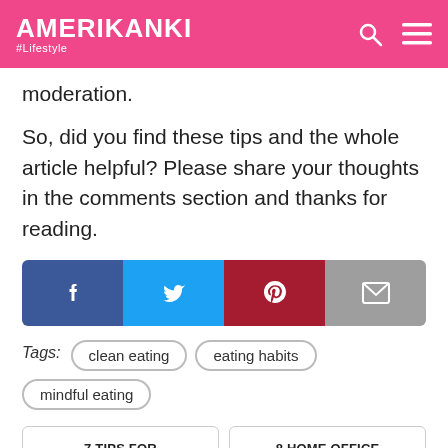AMERIKANKI #Lifestyle
moderation.
So, did you find these tips and the whole article helpful? Please share your thoughts in the comments section and thanks for reading.
[Figure (infographic): Social share bar with four buttons: Facebook (blue), Twitter (cyan), Pinterest (dark red), Email (grey)]
Tags: clean eating  eating habits  mindful eating
7 TIPS FOR CHOOSING A BABY
8 HOME OFFICE DECORATING TIPS